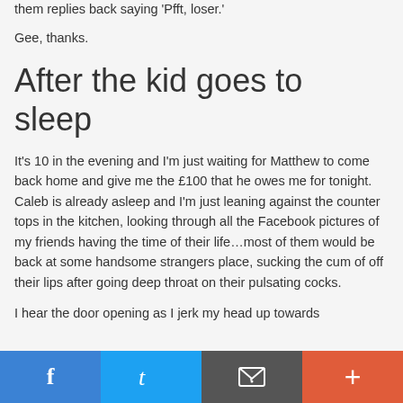them replies back saying 'Pfft, loser.'
Gee, thanks.
After the kid goes to sleep
It's 10 in the evening and I'm just waiting for Matthew to come back home and give me the £100 that he owes me for tonight. Caleb is already asleep and I'm just leaning against the counter tops in the kitchen, looking through all the Facebook pictures of my friends having the time of their life…most of them would be back at some handsome strangers place, sucking the cum of off their lips after going deep throat on their pulsating cocks.
I hear the door opening as I jerk my head up towards
Facebook | Twitter | Email | +